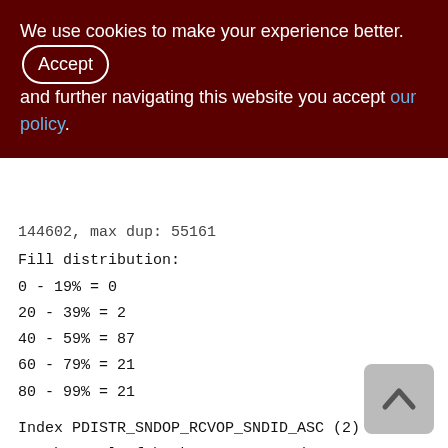We use cookies to make your experience better. By accepting and further navigating this website you accept our policy.
144602, max dup: 55161
Fill distribution:
0 - 19% = 0
20 - 39% = 2
40 - 59% = 87
60 - 79% = 21
80 - 99% = 21
Index PDISTR_SNDOP_RCVOP_SNDID_ASC (2)
Depth: 2, leaf buckets: 159, nodes: 144931
Average data length: 0.89, total dup: 130465, max dup: 40
Fill distribution: